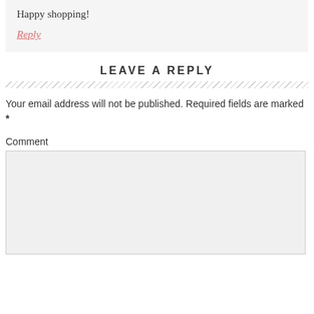Happy shopping!
Reply
LEAVE A REPLY
Your email address will not be published. Required fields are marked *
Comment